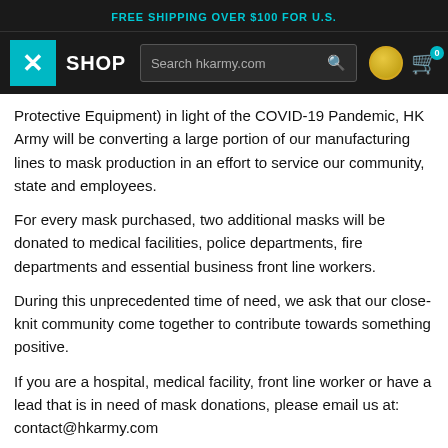FREE SHIPPING OVER $100 FOR U.S.
[Figure (screenshot): HK Army shop navigation bar with logo, search bar, coin icon and cart]
Protective Equipment) in light of the COVID-19 Pandemic, HK Army will be converting a large portion of our manufacturing lines to mask production in an effort to service our community, state and employees.
For every mask purchased, two additional masks will be donated to medical facilities, police departments, fire departments and essential business front line workers.
During this unprecedented time of need, we ask that our close-knit community come together to contribute towards something positive.
If you are a hospital, medical facility, front line worker or have a lead that is in need of mask donations, please email us at: contact@hkarmy.com
Details